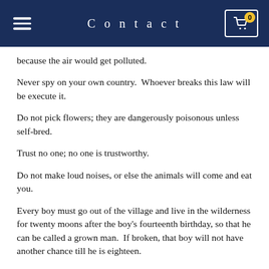Contact
because the air would get polluted.
Never spy on your own country.  Whoever breaks this law will be execute it.
Do not pick flowers; they are dangerously poisonous unless self-bred.
Trust no one; no one is trustworthy.
Do not make loud noises, or else the animals will come and eat you.
Every boy must go out of the village and live in the wilderness for twenty moons after the boy's fourteenth birthday, so that he can be called a grown man.  If broken, that boy will not have another chance till he is eighteen.
Do not cause trouble among the people.  Punishment: 5 year